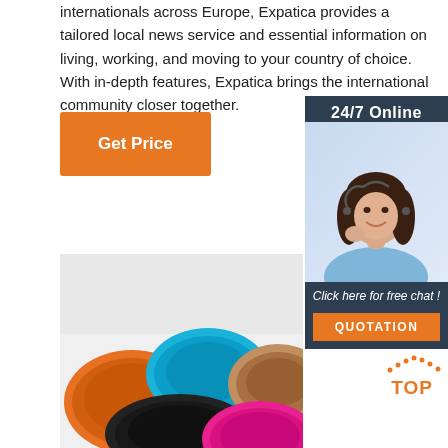internationals across Europe, Expatica provides a tailored local news service and essential information on living, working, and moving to your country of choice. With in-depth features, Expatica brings the international community closer together.
Get Price
[Figure (infographic): 24/7 Online customer service sidebar with a photo of a woman wearing a headset, 'Click here for free chat!' text, and an orange QUOTATION button]
[Figure (photo): Product photo showing multiple colorful beret hats in orange, blue, brown, black, and pink/magenta colors arranged on a white background]
TOP